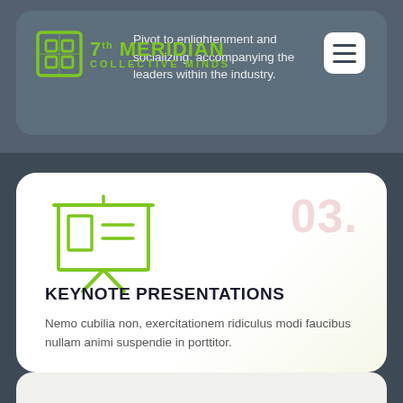[Figure (logo): 7th Meridian logo with green icon and text]
Pivot to enlightenment and socializing; accompanying the leaders within the industry.
[Figure (illustration): Presentation board icon in green line art with number 03. watermark]
KEYNOTE PRESENTATIONS
Nemo cubilia non, exercitationem ridiculus modi faucibus nullam animi suspendie in porttitor.